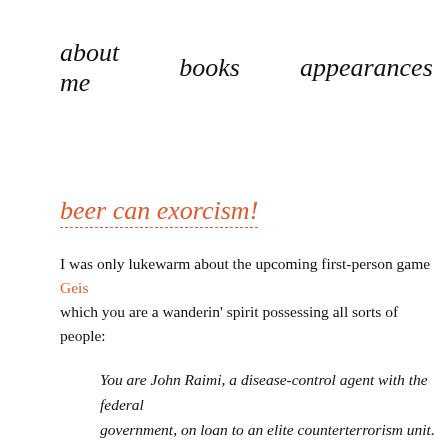about me   books   appearances
beer can exorcism!
I was only lukewarm about the upcoming first-person game Geis which you are a wanderin' spirit possessing all sorts of people:
You are John Raimi, a disease-control agent with the federal government, on loan to an elite counterterrorism unit. Your team to investigate the shadowy Volks Corporation. When the operatio horribly wrong, you are captured and subjected to a ghastly expe that rips your spirit from your physical body. You now roam the h the Volks Corporation compound as a spectral phantom, using yo powers to scare and possess any human or animal that crosses y path.